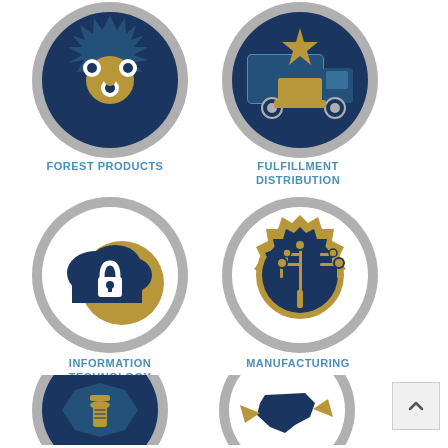[Figure (illustration): Forest Products icon — circular gray border with dark navy circular background showing a saw blade with gold center dots, white circular holes around edge]
FOREST PRODUCTS
[Figure (illustration): Fulfillment Distribution icon — circular gray border with dark navy background showing a delivery truck with a gold star and gold box/pedestal]
FULFILLMENT DISTRIBUTION
[Figure (illustration): Information Technology icon — circular gray border showing a dark navy cloud with a white padlock, gold circle behind the cloud]
INFORMATION TECHNOLOGY
[Figure (illustration): Manufacturing icon — circular gray border showing a gold gear with dark navy circuit board tree design inside]
MANUFACTURING
[Figure (illustration): Bottom left icon — circular gray border with dark navy octagon background and a gold screw/bolt in the center]
[Figure (illustration): Bottom right icon — circular gray border showing a map/state outline with gold and navy arrows crossing]